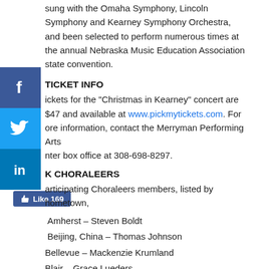sung with the Omaha Symphony, Lincoln Symphony and Kearney Symphony Orchestra, and been selected to perform numerous times at the annual Nebraska Music Education Association state convention.
TICKET INFO
Tickets for the "Christmas in Kearney" concert are $7-$47 and available at www.pickmytickets.com. For more information, contact the Merryman Performing Arts Center box office at 308-698-8297.
K CHORALEERS
Participating Choraleers members, listed by hometown,
Amherst – Steven Boldt
Beijing, China – Thomas Johnson
Bellevue – Mackenzie Krumland
Blair – Grace Lueders
Broken Bow – Hollie Rose
Cairo – Grace McDonald
Columbus – Bethany Ernst
David City – Bethany Tebbe